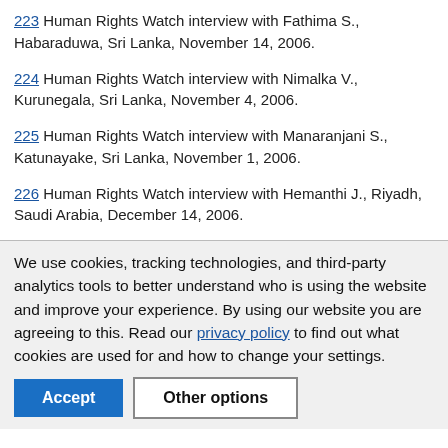223 Human Rights Watch interview with Fathima S., Habaraduwa, Sri Lanka, November 14, 2006.
224 Human Rights Watch interview with Nimalka V., Kurunegala, Sri Lanka, November 4, 2006.
225 Human Rights Watch interview with Manaranjani S., Katunayake, Sri Lanka, November 1, 2006.
226 Human Rights Watch interview with Hemanthi J., Riyadh, Saudi Arabia, December 14, 2006.
We use cookies, tracking technologies, and third-party analytics tools to better understand who is using the website and improve your experience. By using our website you are agreeing to this. Read our privacy policy to find out what cookies are used for and how to change your settings.
Accept | Other options